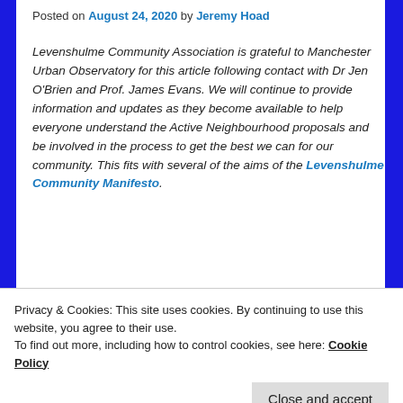Posted on August 24, 2020 by Jeremy Hoad
Levenshulme Community Association is grateful to Manchester Urban Observatory for this article following contact with Dr Jen O'Brien and Prof. James Evans. We will continue to provide information and updates as they become available to help everyone understand the Active Neighbourhood proposals and be involved in the process to get the best we can for our community. This fits with several of the aims of the Levenshulme Community Manifesto.
Manchester Urban Observatory and the Levenshulme Active Neighbourhood –
Privacy & Cookies: This site uses cookies. By continuing to use this website, you agree to their use.
To find out more, including how to control cookies, see here: Cookie Policy
understanding of sites. Our goal is to ensure future